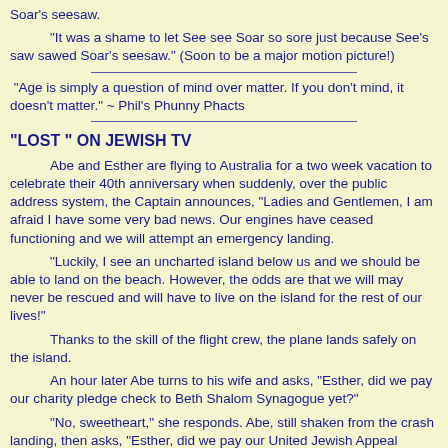Soar's seesaw.
"It was a shame to let See see Soar so sore just because See's saw sawed Soar's seesaw."  (Soon to be a major motion picture!)
"Age is simply a question of mind over matter.  If you don't mind, it doesn't matter." ~ Phil's Phunny Phacts
"LOST " ON JEWISH TV
Abe and Esther are flying to Australia for a two week vacation to celebrate their 40th anniversary when suddenly, over the public address system, the Captain announces, "Ladies and Gentlemen, I am afraid I have some very bad news. Our engines have ceased functioning and we will attempt an emergency landing.
"Luckily, I see an uncharted island below us and we should be able to land on the beach. However, the odds are that we will may never be rescued and will have to live on the island for the rest of our lives!"
Thanks to the skill of the flight crew, the plane lands safely on the island.
An hour later Abe turns to his wife and asks, "Esther, did we pay our charity pledge check to Beth Shalom Synagogue yet?"
"No, sweetheart," she responds. Abe, still shaken from the crash landing, then asks, "Esther, did we pay our United Jewish Appeal pledge?"
"Oy, no! I'm sorry, I forgot to send the check," she says.